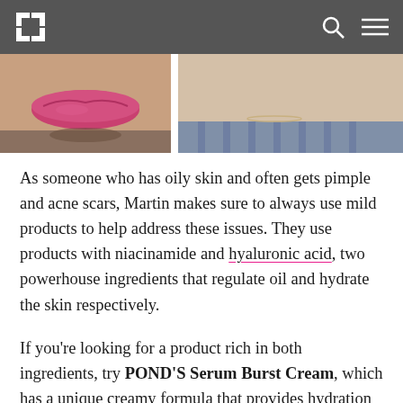Navigation bar with logo and icons
[Figure (photo): Close-up photo showing two faces side by side — left side shows lips with pink lipstick, right side shows a person's neck/chin area with striped clothing]
As someone who has oily skin and often gets pimple and acne scars, Martin makes sure to always use mild products to help address these issues. They use products with niacinamide and hyaluronic acid, two powerhouse ingredients that regulate oil and hydrate the skin respectively.
If you're looking for a product rich in both ingredients, try POND'S Serum Burst Cream, which has a unique creamy formula that provides hydration and has a moisturising effect. After cleansing